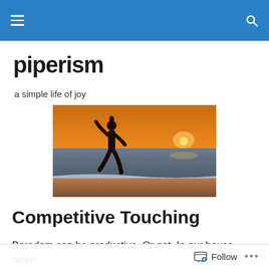[navigation bar with hamburger menu and search icon]
piperism
a simple life of joy
[Figure (photo): Silhouette of a person running or jumping on a beach at sunset, with orange sky and sun near the horizon reflecting on the water.]
Competitive Touching
Boredom can be productive. Or not. In our house, when